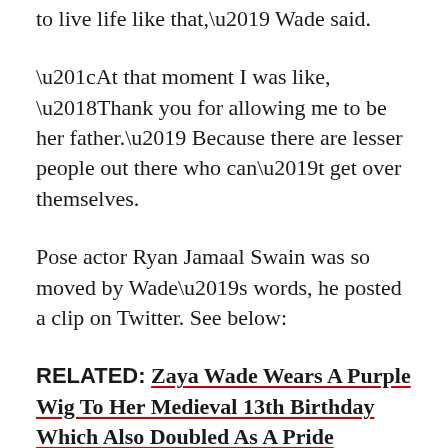to live life like that,' Wade said.
“At that moment I was like, ‘Thank you for allowing me to be her father.’ Because there are lesser people out there who can’t get over themselves.
Pose actor Ryan Jamaal Swain was so moved by Wade’s words, he posted a clip on Twitter. See below:
RELATED: Zaya Wade Wears A Purple Wig To Her Medieval 13th Birthday Which Also Doubled As A Pride Celebration
Wade also said on the podcast,